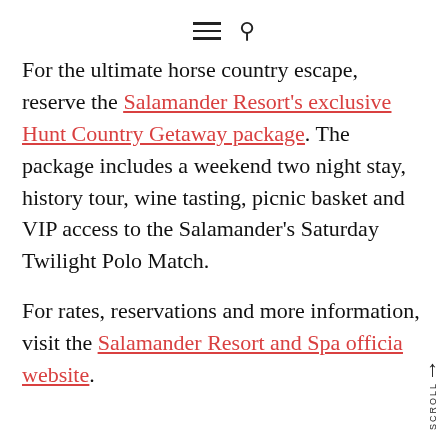≡ 🔍
For the ultimate horse country escape, reserve the Salamander Resort's exclusive Hunt Country Getaway package. The package includes a weekend two night stay, history tour, wine tasting, picnic basket and VIP access to the Salamander's Saturday Twilight Polo Match.
For rates, reservations and more information, visit the Salamander Resort and Spa official website.